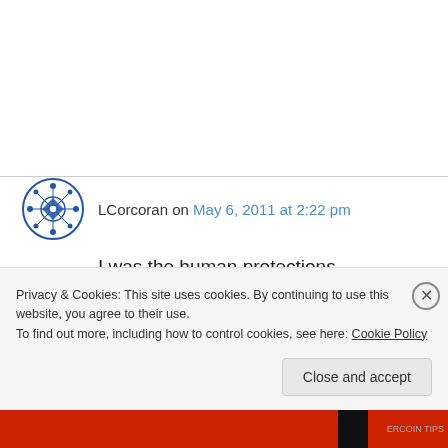LCorcoran on May 6, 2011 at 2:22 pm
I was the human protections administrator for a local hospital's Institutional Review Board for several years and, at the same time, was the risk manager at that same hospital. It is inconceivable to me that an esteemed organization such as JH put your wife in such
Privacy & Cookies: This site uses cookies. By continuing to use this website, you agree to their use.
To find out more, including how to control cookies, see here: Cookie Policy
Close and accept